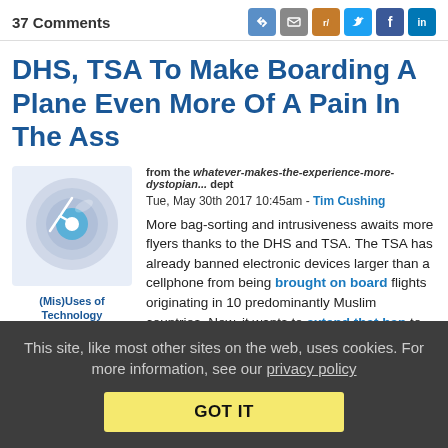37 Comments
DHS, TSA To Make Boarding A Plane Even More Of A Pain In The Ass
from the whatever-makes-the-experience-more-dystopian... dept
Tue, May 30th 2017 10:45am - Tim Cushing
[Figure (illustration): A broken CD/DVD disc icon with blue center, representing (Mis)Uses of Technology category]
(Mis)Uses of Technology
More bag-sorting and intrusiveness awaits more flyers thanks to the DHS and TSA. The TSA has already banned electronic devices larger than a cellphone from being brought on board flights originating in 10 predominantly Muslim countries. Now, it wants to extend that ban to European nations. For now, the new inconvenience is in its test phase.
This site, like most other sites on the web, uses cookies. For more information, see our privacy policy
GOT IT